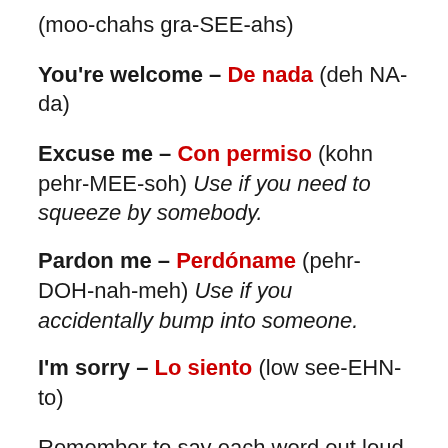(moo-chahs gra-SEE-ahs)
You're welcome – De nada (deh NA-da)
Excuse me – Con permiso (kohn pehr-MEE-soh) Use if you need to squeeze by somebody.
Pardon me – Perdóname (pehr-DOH-nah-meh) Use if you accidentally bump into someone.
I'm sorry – Lo siento (low see-EHN-to)
Remember to say each word out loud a few